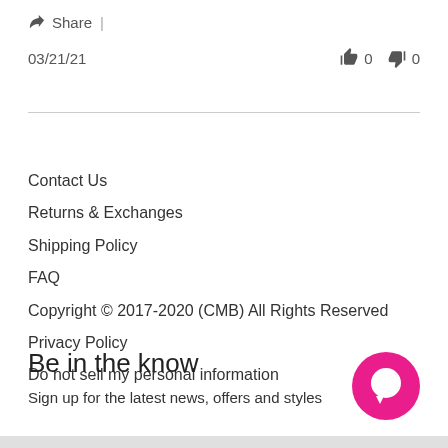Share |
03/21/21   👍 0   👎 0
Contact Us
Returns & Exchanges
Shipping Policy
FAQ
Copyright © 2017-2020 (CMB) All Rights Reserved
Privacy Policy
Do not sell my personal information
Be in the know
Sign up for the latest news, offers and styles